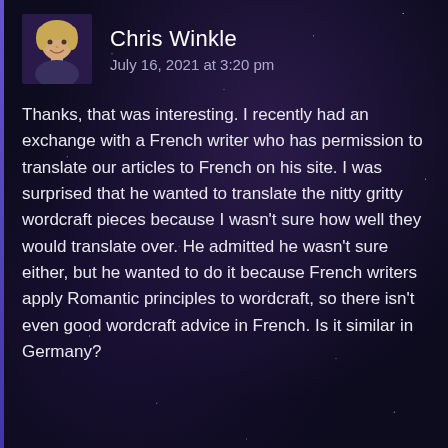Chris Winkle
July 16, 2021 at 3:20 pm
Thanks, that was interesting. I recently had an exchange with a French writer who has permission to translate our articles to French on his site. I was surprised that he wanted to translate the nitty gritty wordcraft pieces because I wasn't sure how well they would translate over. He admitted he wasn't sure either, but he wanted to do it because French writers apply Romantic principles to wordcraft, so there isn't even good wordcraft advice in French. Is it similar in Germany?